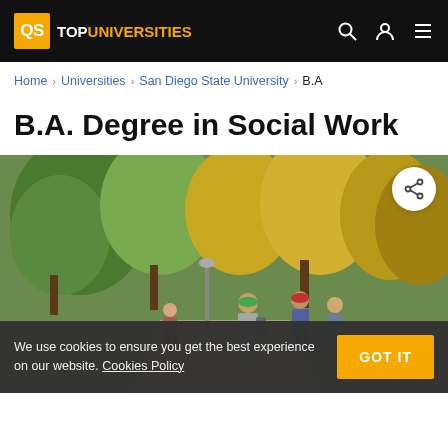QS TOPUNIVERSITIES
Home › Universities › San Diego State University › B.A
B.A. Degree in Social Work
[Figure (photo): Students walking on a tree-lined campus path in autumn, with a cookie consent banner overlay reading: We use cookies to ensure you get the best experience on our website. Cookies Policy [GOT IT button]]